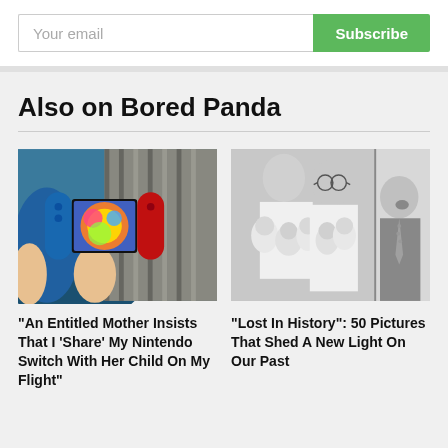Your email
Subscribe
Also on Bored Panda
[Figure (photo): Person holding a Nintendo Switch gaming console showing colorful game graphics, with blue and red Joy-Con controllers]
"An Entitled Mother Insists That I 'Share' My Nintendo Switch With Her Child On My Flight"
[Figure (photo): Black and white historical photo showing a nurse holding multiple newborn babies while a man looks on with an exasperated expression]
"Lost In History": 50 Pictures That Shed A New Light On Our Past